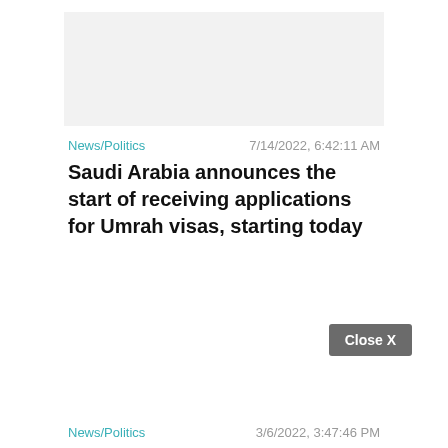[Figure (other): Light gray image placeholder rectangle at the top of a news card]
News/Politics
7/14/2022, 6:42:11 AM
Saudi Arabia announces the start of receiving applications for Umrah visas, starting today
Close X
News/Politics
3/6/2022, 3:47:46 PM